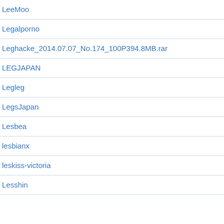LeeMoo
Legalporno
Leghacke_2014.07.07_No.174_100P394.8MB.rar
LEGJAPAN
Legleg
LegsJapan
Lesbea
lesbianx
leskiss-victoria
Lesshin